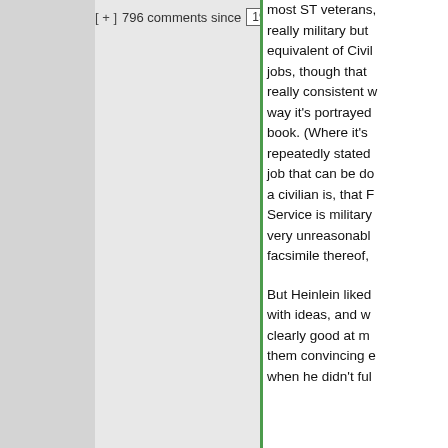[ + ]  796 comments since  1970-01-01 00:0
most ST veterans, really military but equivalent of Civil jobs, though that really consistent w way it's portrayed book. (Where it's repeatedly stated job that can be do a civilian is, that F Service is military very unreasonabl facsimile thereof,
But Heinlein liked with ideas, and w clearly good at m them convincing e when he didn't ful